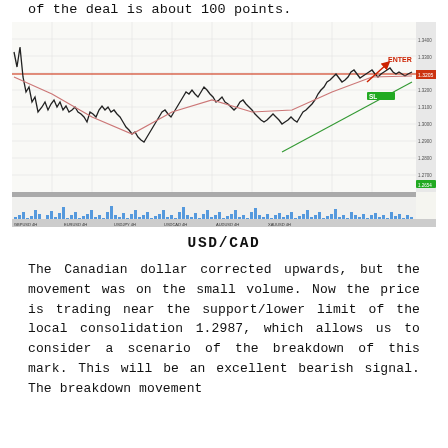of the deal is about 100 points.
[Figure (continuous-plot): USD/CAD price chart (candlestick/line) with volume bars at bottom, showing price movement with a horizontal red resistance line, an ENTER arrow annotation in red, and an SL label in green. Blue volume histogram below the price chart.]
USD/CAD
The Canadian dollar corrected upwards, but the movement was on the small volume. Now the price is trading near the support/lower limit of the local consolidation 1.2987, which allows us to consider a scenario of the breakdown of this mark. This will be an excellent bearish signal. The breakdown movement